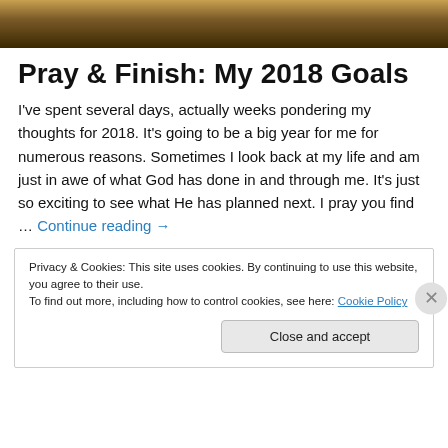[Figure (photo): Partial photo of a wooden surface with warm brown tones, shown as a horizontal bar at the top of the page.]
Pray & Finish: My 2018 Goals
I've spent several days, actually weeks pondering my thoughts for 2018. It's going to be a big year for me for numerous reasons. Sometimes I look back at my life and am just in awe of what God has done in and through me. It's just so exciting to see what He has planned next. I pray you find … Continue reading →
Privacy & Cookies: This site uses cookies. By continuing to use this website, you agree to their use.
To find out more, including how to control cookies, see here: Cookie Policy
Close and accept